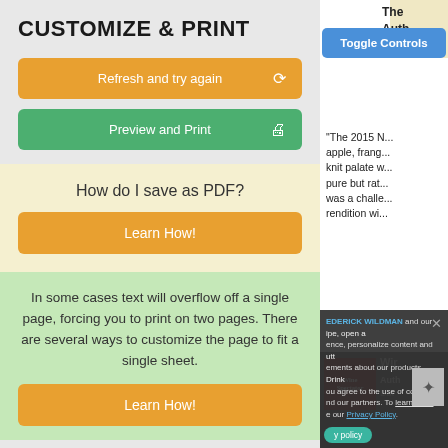CUSTOMIZE & PRINT
Refresh and try again
Preview and Print
How do I save as PDF?
Learn How!
In some cases text will overflow off a single page, forcing you to print on two pages. There are several ways to customize the page to fit a single sheet.
Learn How!
Toggle Controls
"The 2015 N... apple, frang... knit palate w... pure but rat... was a challe... rendition wi...
EDERICK WILDMAN and our... ence, personalize content and ements about our products. ou agree to the use of cookies nd our partners. To learn more e our Privacy Policy.
y policy
A pretty if pu...
Wir... Auth... Dat...